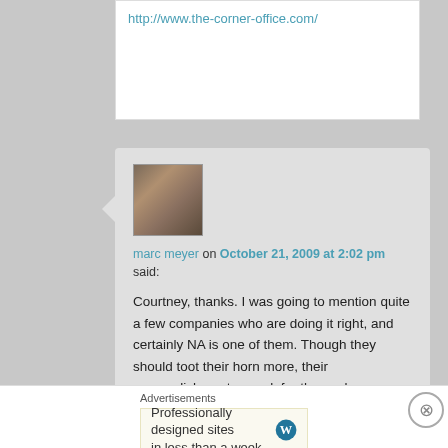http://www.the-corner-office.com/
[Figure (photo): Avatar photo of marc meyer, a person with medium-length hair]
marc meyer on October 21, 2009 at 2:02 pm said:
Courtney, thanks. I was going to mention quite a few companies who are doing it right, and certainly NA is one of them. Though they should toot their horn more, their accomplishments speak for themselves.
Advertisements
[Figure (other): Green advertisement banner]
Advertisements
[Figure (other): WordPress advertisement card: Professionally designed sites in less than a week]